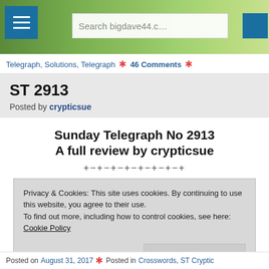[Figure (screenshot): Website header with landscape photo background, hamburger menu button on left, search box with 'Search bigdave44.co' placeholder text, and blue button on right]
Telegraph, Solutions, Telegraph   46 Comments
ST 2913
Posted by crypticsue
Sunday Telegraph No 2913
A full review by crypticsue
+-+-+-+-+-+-+-+
Privacy & Cookies: This site uses cookies. By continuing to use this website, you agree to their use.
To find out more, including how to control cookies, see here: Cookie Policy
Close and accept
A Su... one of th... o for 20d.
Posted on August 31, 2017   Posted in Crosswords, ST Cryptic